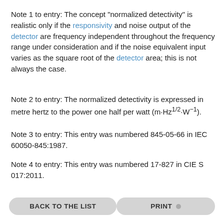Note 1 to entry: The concept "normalized detectivity" is realistic only if the responsivity and noise output of the detector are frequency independent throughout the frequency range under consideration and if the noise equivalent input varies as the square root of the detector area; this is not always the case.
Note 2 to entry: The normalized detectivity is expressed in metre hertz to the power one half per watt (m·Hz^(1/2)·W^(-1)).
Note 3 to entry: This entry was numbered 845-05-66 in IEC 60050-845:1987.
Note 4 to entry: This entry was numbered 17-827 in CIE S 017:2011.
BACK TO THE LIST
PRINT